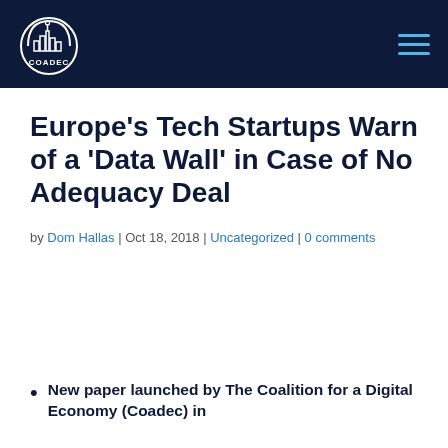COADEC
Europe's Tech Startups Warn of a 'Data Wall' in Case of No Adequacy Deal
by Dom Hallas | Oct 18, 2018 | Uncategorized | 0 comments
New paper launched by The Coalition for a Digital Economy (Coadec) in